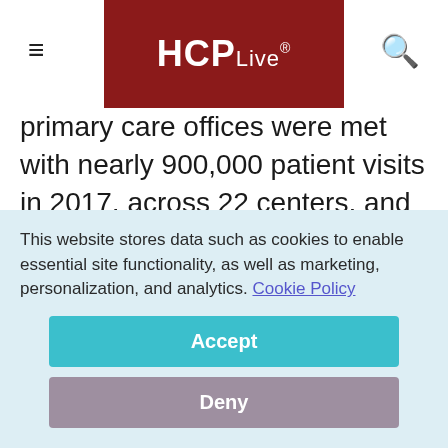HCPLive®
primary care offices were met with nearly 900,000 patient visits in 2017, across 22 centers, and despite the volume, the offices have managed to reduce wasted patient minutes by 7.6% through efforts to streamline and shore up patient throughput—all while involving the patients in the process, something
This website stores data such as cookies to enable essential site functionality, as well as marketing, personalization, and analytics. Cookie Policy
Accept
Deny